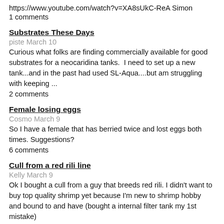https://www.youtube.com/watch?v=XA8sUkC-ReA Simon
1 comments
Substrates These Days
piste March 10
Curious what folks are finding commercially available for good substrates for a neocaridina tanks.  I need to set up a new tank...and in the past had used SL-Aqua....but am struggling with keeping ...
2 comments
Female losing eggs
Cosmo March 9
So I have a female that has berried twice and lost eggs both times. Suggestions?
6 comments
Cull from a red rili line
Kelly March 9
Ok I bought a cull from a guy that breeds red rili. I didn't want to buy top quality shrimp yet because I'm new to shrimp hobby and bound to and have (bought a internal filter tank my 1st mistake)